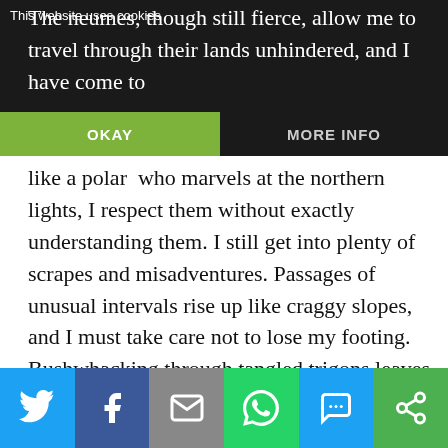This website uses cookies
The neumes, though still fierce, allow me to travel through their lands unhindered, and I have come to
[Figure (screenshot): Cookie consent bar with OKAY button (green) and MORE INFO button (dark)]
like a polar who marvels at the northern lights, I respect them without exactly understanding them. I still get into plenty of scrapes and misadventures. Passages of unusual intervals rise up like craggy slopes, and I must take care not to lose my footing. Bushwhacking through tangled trigons leaves me panting for breath and scanning the horizon for the nearest half bar. But I am a far cry from that uneducated child who first came to this world as a mere tourist. Each expedition I make in the wild lands orients me a little more toward the good, the true, and the beautiful, even as it humbles
[Figure (infographic): Social sharing bar with Twitter, Facebook, Email, WhatsApp, SMS, and More icons]